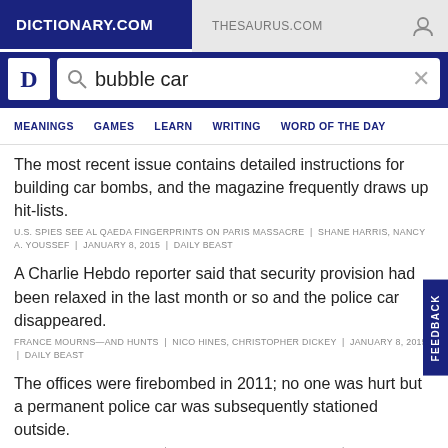DICTIONARY.COM   THESAURUS.COM
[Figure (screenshot): Dictionary.com search bar with logo and search query 'bubble car']
MEANINGS   GAMES   LEARN   WRITING   WORD OF THE DAY
The most recent issue contains detailed instructions for building car bombs, and the magazine frequently draws up hit-lists.
U.S. SPIES SEE AL QAEDA FINGERPRINTS ON PARIS MASSACRE  |  SHANE HARRIS, NANCY A. YOUSSEF  |  JANUARY 8, 2015  |  DAILY BEAST
A Charlie Hebdo reporter said that security provision had been relaxed in the last month or so and the police car disappeared.
FRANCE MOURNS—AND HUNTS  |  NICO HINES, CHRISTOPHER DICKEY  |  JANUARY 8, 2015  |  DAILY BEAST
The offices were firebombed in 2011; no one was hurt but a permanent police car was subsequently stationed outside.
FRANCE MOURNS—AND HUNTS  |  NICO HINES, CHRISTOPHER DICKEY  |  JANUARY 8, 2015  |  DAILY BEAST